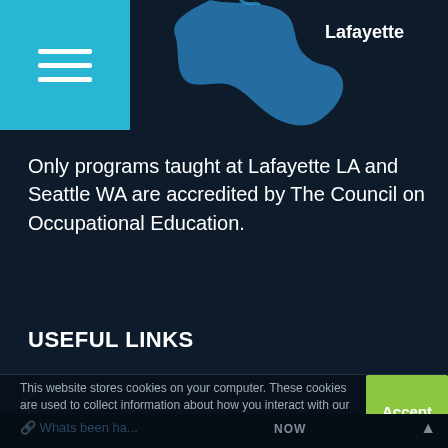[Figure (screenshot): Dark navy header with light blue hamburger menu button on left and partial map shape with Lafayette label]
Only programs taught at Lafayette LA and Seattle WA are accredited by The Council on Occupational Education.
USEFUL LINKS
This website stores cookies on your computer. These cookies are used to collect information about how you interact with our website and allow us to remember you. We use this information in order to improve and customize your browsing experience and for analytics and metrics about our visitors both on this website and other media. To find out more about the cookies we use, see our Privacy Policy.
Whats been ha... AI?
NOW